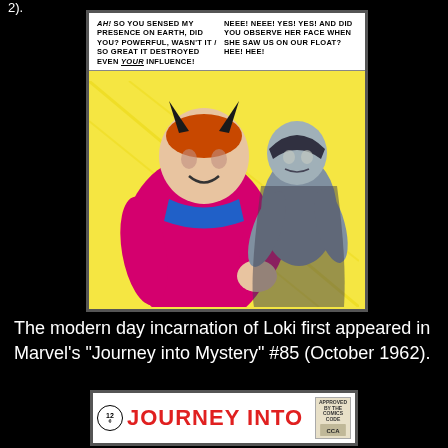2).
[Figure (illustration): Comic book panel showing Loki (in magenta costume) and a grey villain character against a yellow background. Speech bubbles read: 'AH! SO YOU SENSED MY PRESENCE ON EARTH, DID YOU? POWERFUL, WASN'T IT / SO GREAT IT DESTROYED EVEN YOUR INFLUENCE!' and 'NEEE! NEEE! YES! YES! AND DID YOU OBSERVE HER FACE WHEN SHE SAW US ON OUR FLOAT? HEE! HEE!']
The modern day incarnation of Loki first appeared in Marvel's "Journey into Mystery" #85 (October 1962).
[Figure (illustration): Bottom portion of Marvel's Journey Into Mystery comic book cover showing the title 'JOURNEY INTO' in red letters with a 12 cent price badge and approval stamp.]